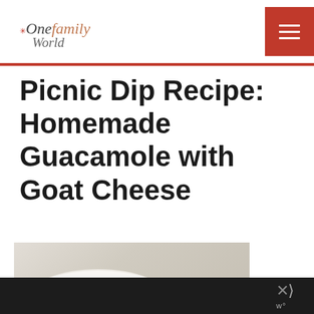One Family World
Picnic Dip Recipe: Homemade Guacamole with Goat Cheese
[Figure (photo): Photo of a white bowl, partially visible, on a wooden surface, containing guacamole]